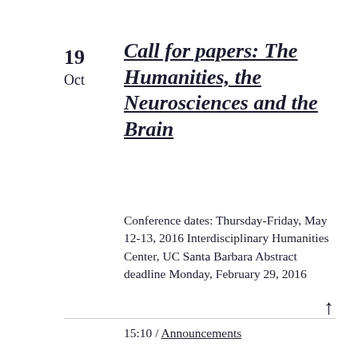19
Oct
Call for papers: The Humanities, the Neurosciences and the Brain
Conference dates: Thursday-Friday, May 12-13, 2016 Interdisciplinary Humanities Center, UC Santa Barbara Abstract deadline Monday, February 29, 2016
15:10 / Announcements